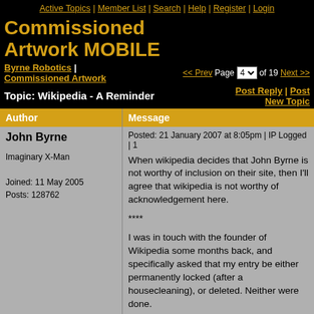Active Topics | Member List | Search | Help | Register | Login
Commissioned Artwork MOBILE
Byrne Robotics | Commissioned Artwork
<< Prev Page 4 of 19 Next >>
Topic: Wikipedia - A Reminder
Post Reply | Post New Topic
| Author | Message |
| --- | --- |
| John Byrne
Imaginary X-Man
Joined: 11 May 2005
Posts: 128762 | Posted: 21 January 2007 at 8:05pm | IP Logged | 1

When wikipedia decides that John Byrne is not worthy of inclusion on their site, then I'll agree that wikipedia is not worthy of acknowledgement here.

****

I was in touch with the founder of Wikipedia some months back, and specifically asked that my entry be either permanently locked (after a housecleaning), or deleted. Neither were done. |